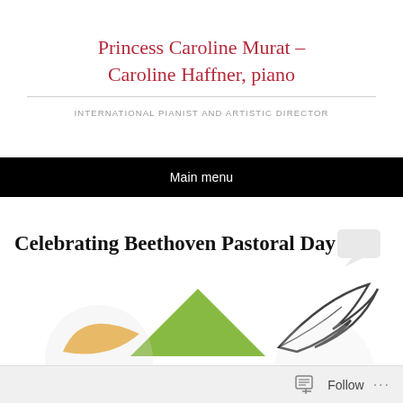Princess Caroline Murat – Caroline Haffner, piano
INTERNATIONAL PIANIST AND ARTISTIC DIRECTOR
Main menu
Celebrating Beethoven Pastoral Day
[Figure (illustration): Decorative illustration with green triangle/mountain shape, yellow/orange curved shape, and a stylized feather or leaf shape in black and white]
Follow ...